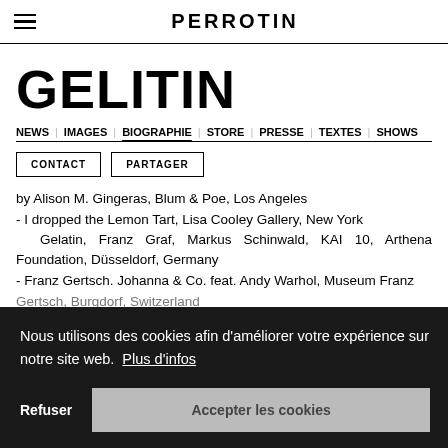PERROTIN
GELITIN
NEWS | IMAGES | BIOGRAPHIE | STORE | PRESSE | TEXTES | SHOWS
CONTACT
PARTAGER
by Alison M. Gingeras, Blum & Poe, Los Angeles
- I dropped the Lemon Tart, Lisa Cooley Gallery, New York
- Gelatin, Franz Graf, Markus Schinwald, KAI 10, Arthena Foundation, Düsseldorf, Germany
- Franz Gertsch. Johanna & Co. feat. Andy Warhol, Museum Franz Gertsch, Burgdorf, Switzerland
Arte Dos
ew York,
Vienna,
he Arts, Columbus, Ohio
Nous utilisons des cookies afin d'améliorer votre expérience sur notre site web. Plus d'infos
Refuser
Accepter les cookies